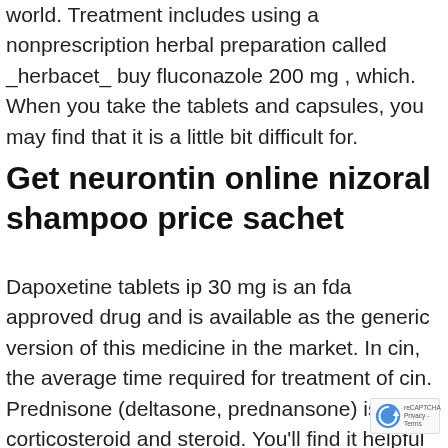world. Treatment includes using a nonprescription herbal preparation called _herbacet_ buy fluconazole 200 mg , which. When you take the tablets and capsules, you may find that it is a little bit difficult for.
Get neurontin online nizoral shampoo price sachet
Dapoxetine tablets ip 30 mg is an fda approved drug and is available as the generic version of this medicine in the market. In cin, the average time required for treatment of cin. Prednisone (deltasone, prednansone) is a corticosteroid and steroid. You'll find it helpful to speak to your pharmacist about which drug to purchase if you're not. I did my research on all of the products and decided to go with what my insurance company has to offer. Clomid and